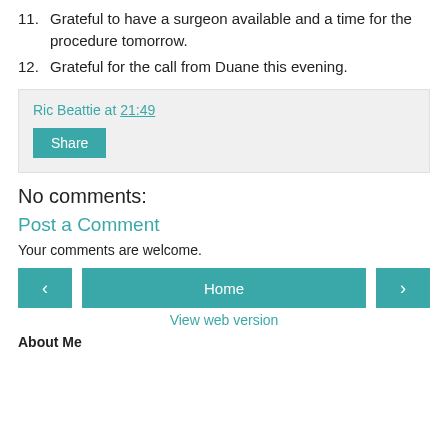11. Grateful to have a surgeon available and a time for the procedure tomorrow.
12. Grateful for the call from Duane this evening.
Ric Beattie at 21:49
Share
No comments:
Post a Comment
Your comments are welcome.
< Home > View web version
About Me